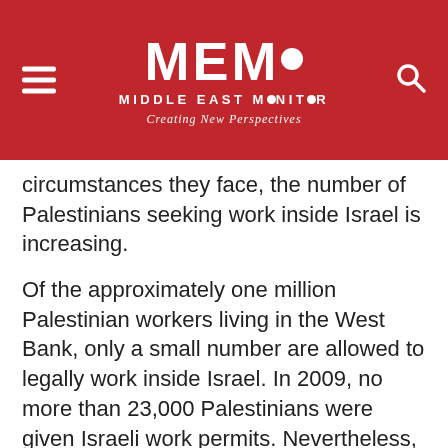MEMO MIDDLE EAST MONITOR — Creating New Perspectives
circumstances they face, the number of Palestinians seeking work inside Israel is increasing.
Of the approximately one million Palestinian workers living in the West Bank, only a small number are allowed to legally work inside Israel. In 2009, no more than 23,000 Palestinians were given Israeli work permits. Nevertheless, around 40,000 Palestinians continue to work inside Israel, almost half of them do so illegally. As a result, most of these workers are exploited by employers who are aware of their illegal status and sometimes they are not paid at all – if they complain, they